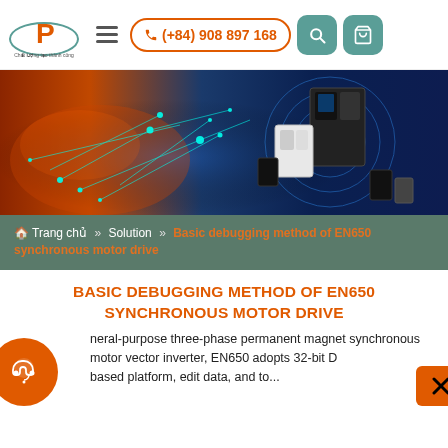[Figure (logo): DiaPhat company logo with stylized P icon and circular text]
(+84) 908 897 168
[Figure (photo): Hero banner showing a world map network connectivity graphic on the left with orange/blue colors, and industrial variable frequency drive/inverter products on the right against a blue circuit board background]
🏠 Trang chủ » Solution » Basic debugging method of EN650 synchronous motor drive
BASIC DEBUGGING METHOD OF EN650 SYNCHRONOUS MOTOR DRIVE
General-purpose three-phase permanent magnet synchronous motor vector inverter, EN650 adopts 32-bit D... based platform, edit data, and to...